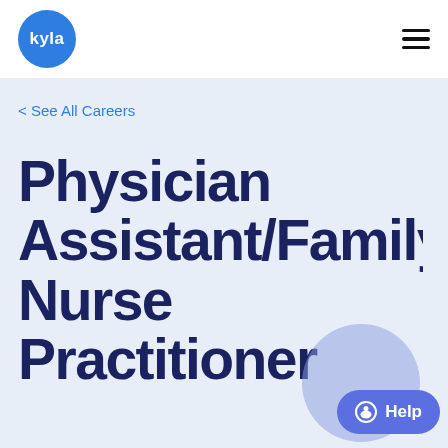[Figure (logo): Kyla logo — blue circle with white text 'kyla']
< See All Careers
Physician Assistant/Family Nurse Practitioner
[Figure (illustration): Help chat button with speech bubble icon and 'Help' label in blue rounded pill]